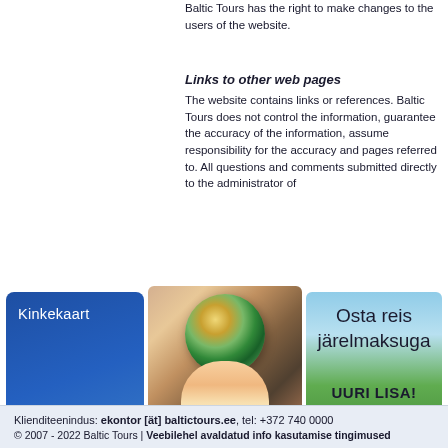Baltic Tours has the right to make changes to the users of the website.
Links to other web pages
The website contains links or references. Baltic Tours does not control the information, guarantee the accuracy of the information, assume responsibility for the accuracy and pages referred to. All questions and comments submitted directly to the administrator of
[Figure (illustration): Three banner ads: (1) Blue Baltic Tours gift card banner with text 'Kinkekaart' and Baltic Tours logo 'Teab, kuhu viib!'; (2) Photo of child holding globe with caption 'TULE TÖÖLE!'; (3) Partial banner with text 'Osta reis järelmaksuga UURI LISA!']
Klienditeenindus: ekontor [ät] baltictours.ee, tel: +372 740 0000
© 2007 - 2022 Baltic Tours | Veebilehel avaldatud info kasutamise tingimused